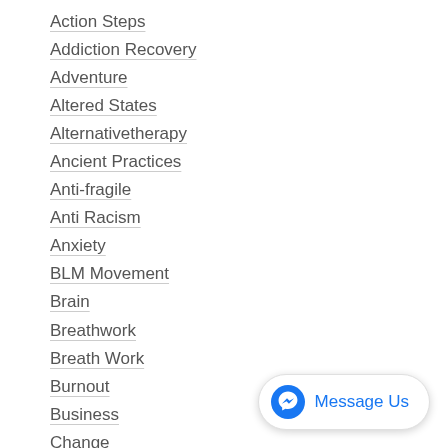Action Steps
Addiction Recovery
Adventure
Altered States
Alternativetherapy
Ancient Practices
Anti-fragile
Anti Racism
Anxiety
BLM Movement
Brain
Breathwork
Breath Work
Burnout
Business
Change
Clinical Psychology
Coaching
Comfort Zone
[Figure (other): Facebook Messenger 'Message Us' button widget in the bottom-right corner]